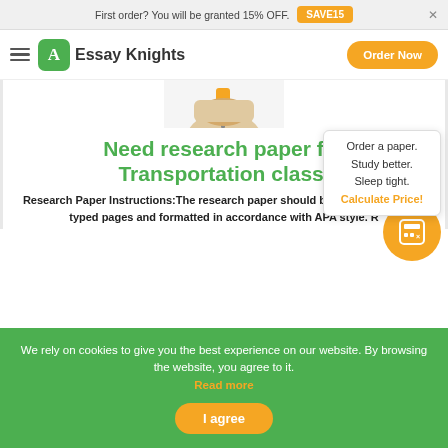First order? You will be granted 15% OFF. SAVE15
Essay Knights | Order Now
[Figure (photo): Cropped hero image showing a hand holding a pen, partially visible at top]
Need research paper for Transportation class.
Research Paper Instructions:The research paper should be a minimum of six typed pages and formatted in accordance with APA style. R
Order a paper. Study better. Sleep tight. Calculate Price!
We rely on cookies to give you the best experience on our website. By browsing the website, you agree to it. Read more
I agree